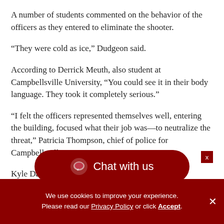A number of students commented on the behavior of the officers as they entered to eliminate the shooter.
“They were cold as ice,” Dudgeon said.
According to Derrick Meuth, also student at Campbellsville University, “You could see it in their body language. They took it completely serious.”
“I felt the officers represented themselves well, entering the building, focused what their job was—to neutralize the threat,” Patricia Thompson, chief of police for Campbellsville
Kyle Davis, director of safety and security at
[Figure (other): Chat with us button overlay in dark red/maroon rounded rectangle with speech bubble icon]
We use cookies to improve your experience. Please read our Privacy Policy or click Accept.